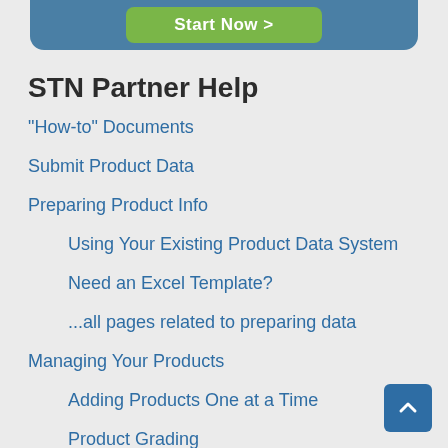[Figure (screenshot): Blue banner with green 'Start Now >' button]
STN Partner Help
"How-to" Documents
Submit Product Data
Preparing Product Info
Using Your Existing Product Data System
Need an Excel Template?
...all pages related to preparing data
Managing Your Products
Adding Products One at a Time
Product Grading
Notify Retailers of Your Updates